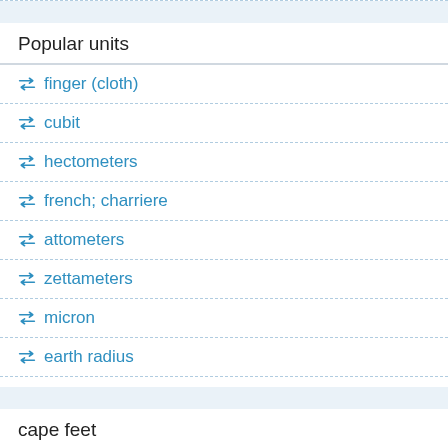Popular units
finger (cloth)
cubit
hectometers
french; charriere
attometers
zettameters
micron
earth radius
cape feet